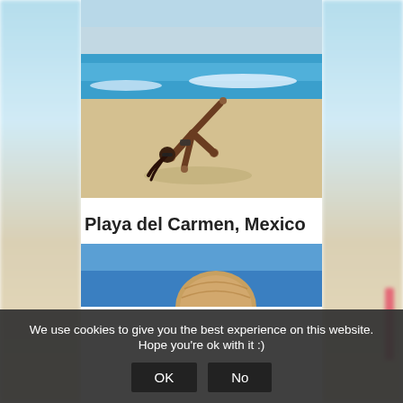[Figure (photo): Woman in bikini doing a yoga pose (one-legged downward dog / wild thing) on a sandy beach with turquoise ocean waves in the background]
Playa del Carmen, Mexico
[Figure (photo): Partial view of a coconut or round object against a bright blue sky]
We use cookies to give you the best experience on this website. Hope you're ok with it :)